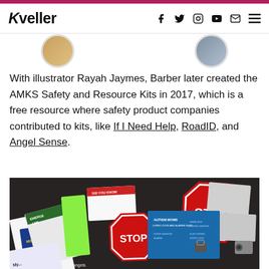Kveller — navigation with social icons
[Figure (photo): Partial circular images at top of page, partially cropped]
With illustrator Rayah Jaymes, Barber later created the AMKS Safety and Resource Kits in 2017, which is a free resource where safety product companies contributed to kits, like If I Need Help, RoadID, and Angel Sense.
[Figure (photo): Photo of AMKS Safety and Resource Kit contents spread out, including STOP signs, cards labeled EMERGE I AM, AUTISM MOMS LIVING LOCKS AND ALARMS, DID YOU KNOW, safety product brochures, and various cards and materials on a dark surface.]